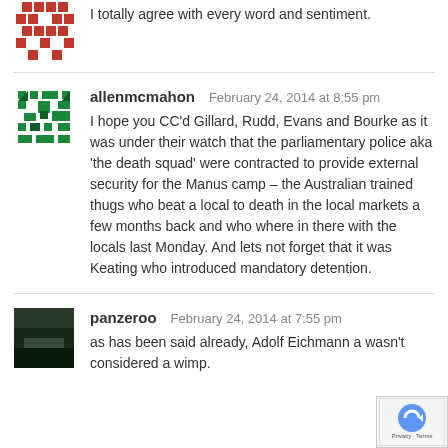[Figure (illustration): Red pixel/mosaic avatar icon (partial, top-left)]
I totally agree with every word and sentiment.
[Figure (illustration): Green geometric/mosaic avatar icon for allenmcmahon]
allenmcmahon   February 24, 2014 at 8:55 pm
I hope you CC'd Gillard, Rudd, Evans and Bourke as it was under their watch that the parliamentary police aka 'the death squad' were contracted to provide external security for the Manus camp – the Australian trained thugs who beat a local to death in the local markets a few months back and who where in there with the locals last Monday. And lets not forget that it was Keating who introduced mandatory detention.
[Figure (photo): Dark landscape thumbnail photo avatar for panzeroo]
panzeroo   February 24, 2014 at 7:55 pm
as has been said already, Adolf Eichmann a... wasn't considered a wimp.